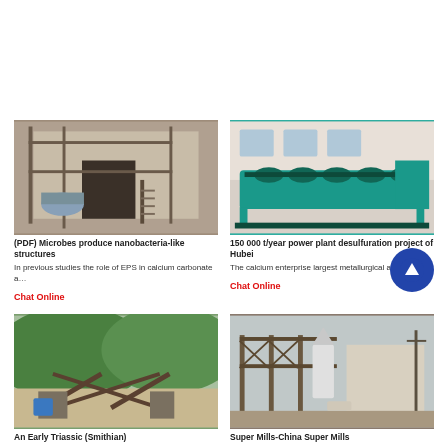[Figure (photo): Industrial building with machinery, scaffolding and a large cylindrical component]
(PDF) Microbes produce nanobacteria-like structures
In previous studies the role of EPS in calcium carbonate a…
Chat Online
[Figure (photo): Teal/turquoise industrial spiral screw classifier machine in a factory]
150 000 t/year power plant desulfuration project of Hubei
The calcium enterprise largest metallurgical ash…
Chat Online
[Figure (photo): Open-air quarry or mining operation with conveyors, surrounded by green forested hills]
An Early Triassic (Smithian)
[Figure (photo): Industrial facility with metal framework, silos, and structures at dusk or overcast day]
Super Mills-China Super Mills